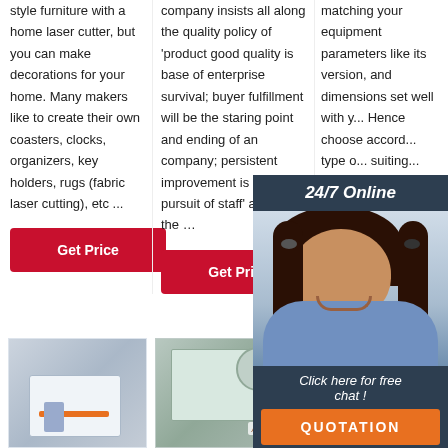style furniture with a home laser cutter, but you can make decorations for your home. Many makers like to create their own coasters, clocks, organizers, key holders, rugs (fabric laser cutting), etc ...
company insists all along the quality policy of 'product good quality is base of enterprise survival; buyer fulfillment will be the staring point and ending of an company; persistent improvement is eternal pursuit of staff' and also the …
matching your equipment parameters like its version, and dimensions set well with y... Hence choose accord... type o... suiting... machi...
24/7 Online
Click here for free chat !
QUOTATION
[Figure (photo): Customer service representative woman wearing headset, smiling]
[Figure (photo): Laser cutting machine equipment 1]
[Figure (photo): Fabric/screen printing equipment with adhesive label]
[Figure (photo): Industrial mixing or processing machine]